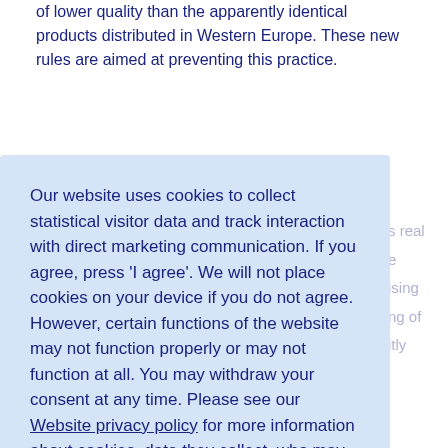of lower quality than the apparently identical products distributed in Western Europe. These new rules are aimed at preventing this practice.
Our website uses cookies to collect statistical visitor data and track interaction with direct marketing communication. If you agree, press 'I agree'. We will not place cookies on your device if you do not agree. However, certain functions of the website may not function properly or may not function at all. You may withdraw your consent at any time. Please see our Website privacy policy for more information about cookies, data they collect, who may access them, and your rights.
Decline
I agree